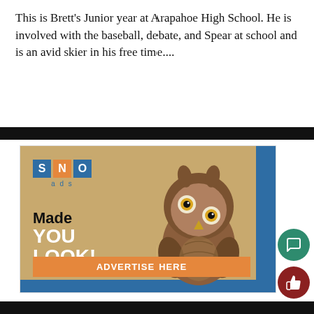This is Brett's Junior year at Arapahoe High School. He is involved with the baseball, debate, and Spear at school and is an avid skier in his free time....
[Figure (illustration): SNO ads advertisement banner featuring an owl with text 'Made YOU LOOK!' and an 'ADVERTISE HERE' button with the SNO logo (S, N, O letter boxes in blue-orange-blue) and the text 'ads' below.]